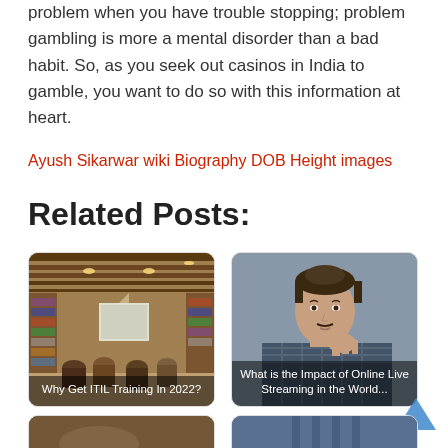problem when you have trouble stopping; problem gambling is more a mental disorder than a bad habit. So, as you seek out casinos in India to gamble, you want to do so with this information at heart.
Ayush Sikarwar wiki Biography DOB Height images
Related Posts:
[Figure (photo): Library/classroom interior with people sitting, watching a presentation screen, bookshelves on walls. Card label: Why Get ITIL Training In 2022?]
[Figure (photo): Young man with facial hair holding hand to chin thoughtfully. Card label: What is the Impact of Online Live Streaming in the World...]
[Figure (photo): Partial card showing bottom portion, dark/brown tones]
[Figure (photo): Partial card showing bottom portion, blue/grey tones]